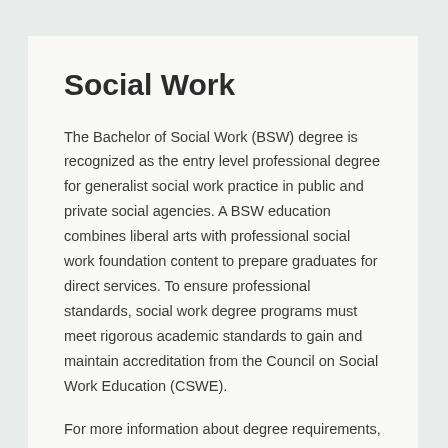Social Work
The Bachelor of Social Work (BSW) degree is recognized as the entry level professional degree for generalist social work practice in public and private social agencies. A BSW education combines liberal arts with professional social work foundation content to prepare graduates for direct services. To ensure professional standards, social work degree programs must meet rigorous academic standards to gain and maintain accreditation from the Council on Social Work Education (CSWE).
For more information about degree requirements, visit